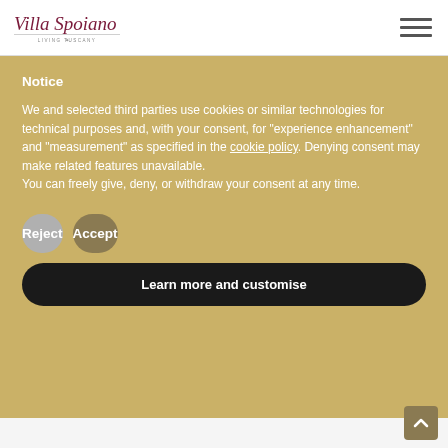Villa Spoiano — Living Tuscany
Notice
We and selected third parties use cookies or similar technologies for technical purposes and, with your consent, for "experience enhancement" and "measurement" as specified in the cookie policy. Denying consent may make related features unavailable.
You can freely give, deny, or withdraw your consent at any time.
Reject
Accept
Learn more and customise